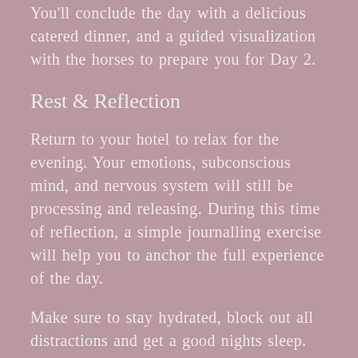You'll conclude the day with a delicious catered dinner, and a guided visualization with the horses to prepare you for Day 2.
Rest & Reflection
Return to your hotel to relax for the evening. Your emotions, subconscious mind, and nervous system will still be processing and releasing. During this time of reflection, a simple journalling exercise will help you to anchor the full experience of the day.
Make sure to stay hydrated, block out all distractions and get a good nights sleep.